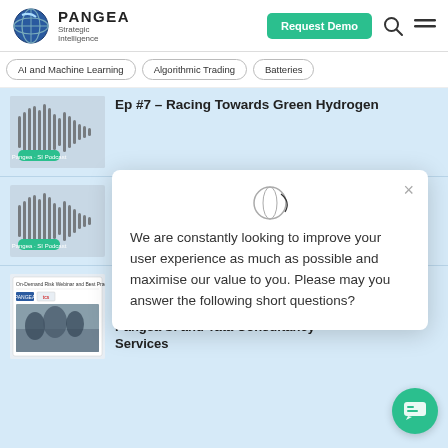[Figure (logo): Pangea Strategic Intelligence globe logo and wordmark]
Request Demo
AI and Machine Learning
Algorithmic Trading
Batteries
[Figure (illustration): Podcast waveform thumbnail for Ep #7]
Ep #7 – Racing Towards Green Hydrogen
[Figure (illustration): Podcast waveform thumbnail for Ep #7 duplicate]
June 29
Ep #7
Hydrog
[Figure (illustration): Report thumbnail for On-Demand Risk webinar]
June 23
On-Demand Risk: Emerging Landscape and Best Practices | Pangea SI and Tata Consultancy Services
We are constantly looking to improve your user experience as much as possible and maximise our value to you. Please may you answer the following short questions?